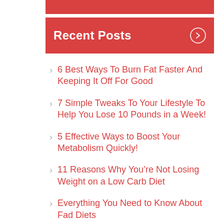Recent Posts
6 Best Ways To Burn Fat Faster And Keeping It Off For Good
7 Simple Tweaks To Your Lifestyle To Help You Lose 10 Pounds in a Week!
5 Effective Ways to Boost Your Metabolism Quickly!
11 Reasons Why You're Not Losing Weight on a Low Carb Diet
Everything You Need to Know About Fad Diets